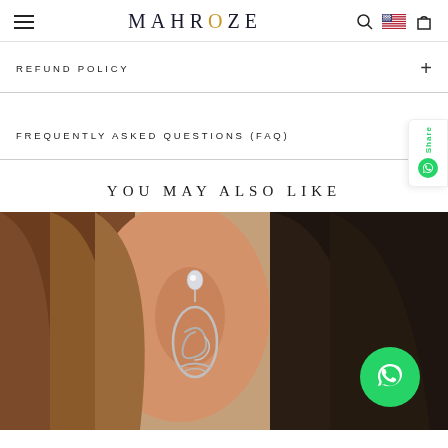MAHROZE — navigation header with hamburger menu, brand logo, search icon, US flag, cart icon
REFUND POLICY
FREQUENTLY ASKED QUESTIONS (FAQ)
YOU MAY ALSO LIKE
[Figure (photo): Woman wearing a silver drop earring with a crystal stud top and twisted knot pendant, close-up on ear with brown hair]
[Figure (photo): Partial view of woman with dark hair, cropped at right edge of page]